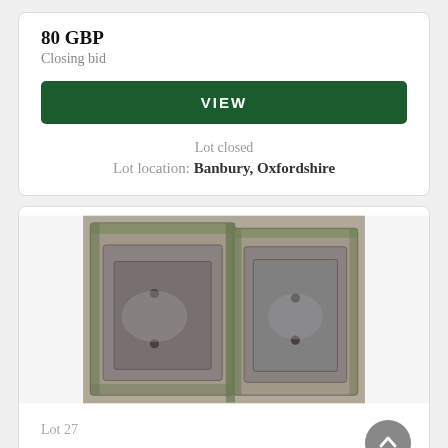80 GBP
Closing bid
VIEW
Lot closed
Lot location: Banbury, Oxfordshire
[Figure (photo): Two rectangular stone garden planters with drainage holes, covered in moss and placed on stone paving.]
Lot 27
TWO RECTANGULAR GARDEN PLANTERS